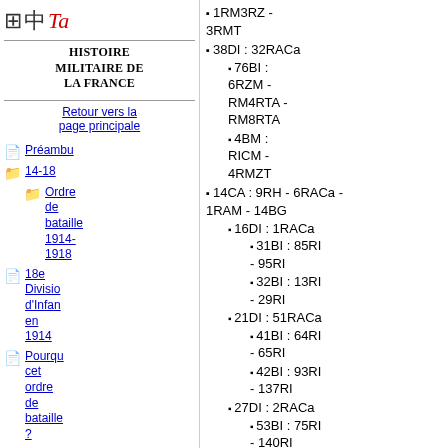Histoire militaire de la France
Retour vers la page principale
Préambu
14-18
Ordre de bataille 1914-1918
18e Division d'Infanterie en 1914
Pourquoi cet ordre de bataille ?
Histoire des...
1RM3RZ - 3RMT
38DI : 32RACa
76BI : 6RZM - RM4RTA - RM8RTA
4BM : RICM - 4RMZT
14CA : 9RH - 6RACa - 1RAM - 14BG
16DI : 1RACa
31BI : 85RI - 95RI
32BI : 13RI - 29RI
21DI : 51RACa
41BI : 64RI - 65RI
42BI : 93RI - 137RI
27DI : 2RACa
53BI : 75RI - 140RI
54BI : 52RI - 415RI
28DI : 54RACa